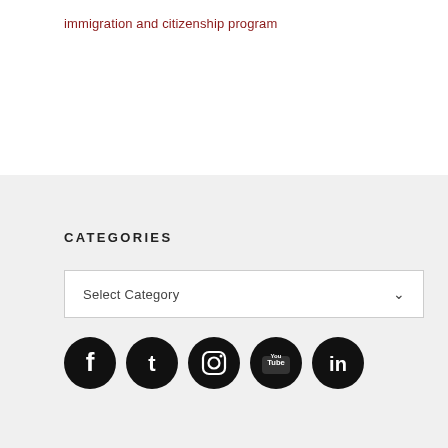immigration and citizenship program
CATEGORIES
Select Category
[Figure (illustration): Five black circular social media icons: Facebook, Twitter, Instagram, YouTube, LinkedIn]